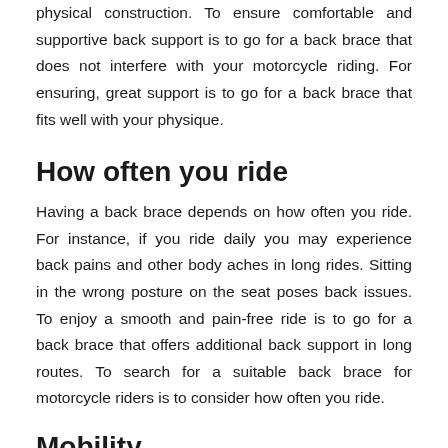physical construction. To ensure comfortable and supportive back support is to go for a back brace that does not interfere with your motorcycle riding. For ensuring, great support is to go for a back brace that fits well with your physique.
How often you ride
Having a back brace depends on how often you ride. For instance, if you ride daily you may experience back pains and other body aches in long rides. Sitting in the wrong posture on the seat poses back issues. To enjoy a smooth and pain-free ride is to go for a back brace that offers additional back support in long routes. To search for a suitable back brace for motorcycle riders is to consider how often you ride.
Mobility